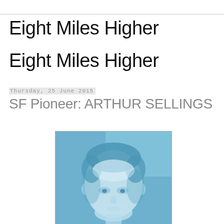Eight Miles Higher
Eight Miles Higher
Thursday, 25 June 2015
SF Pioneer: ARTHUR SELLINGS
[Figure (photo): Black and white photo of Arthur Sellings, a man with short hair, rendered in blue tones, showing his face and upper shoulders, looking slightly downward.]